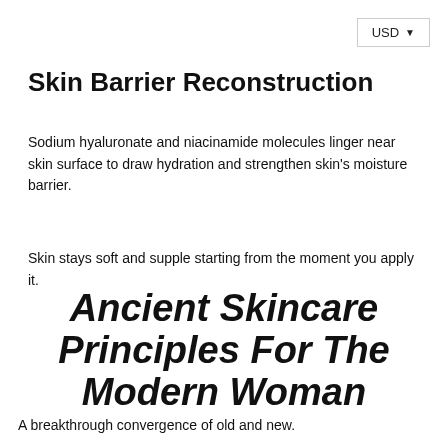USD ▼
Skin Barrier Reconstruction
Sodium hyaluronate and niacinamide molecules linger near skin surface to draw hydration and strengthen skin's moisture barrier.
Skin stays soft and supple starting from the moment you apply it.
Ancient Skincare Principles For The Modern Woman
A breakthrough convergence of old and new.